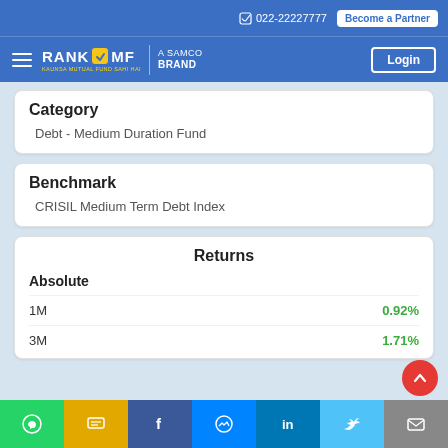022-22227777 | Become a Partner | Login
Category
Debt - Medium Duration Fund
Benchmark
CRISIL Medium Term Debt Index
Returns
Absolute
1M   0.92%
3M   1.71%